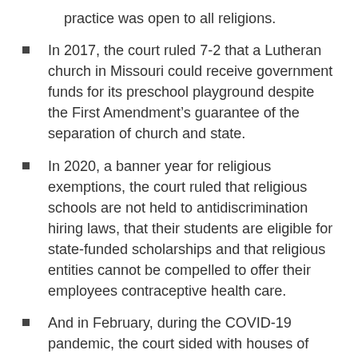practice was open to all religions.
In 2017, the court ruled 7-2 that a Lutheran church in Missouri could receive government funds for its preschool playground despite the First Amendment’s guarantee of the separation of church and state.
In 2020, a banner year for religious exemptions, the court ruled that religious schools are not held to antidiscrimination hiring laws, that their students are eligible for state-funded scholarships and that religious entities cannot be compelled to offer their employees contraceptive health care.
And in February, during the COVID-19 pandemic, the court sided with houses of worship seeking exemptions to a ban on